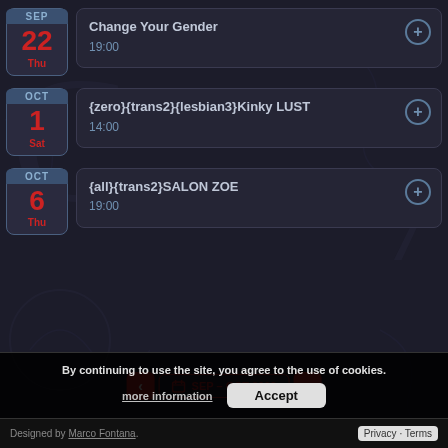[Figure (screenshot): Event listing screenshot showing calendar events for SEP 22 Thu - Change Your Gender 19:00, OCT 1 Sat - {zero}{trans2}{lesbian3}Kinky LUST 14:00, OCT 6 Thu - {all}{trans2}SALON ZOE 19:00, with SEP-OCT 2022 navigation bar, and cookie consent banner at bottom.]
Change Your Gender
19:00
{zero}{trans2}{lesbian3}Kinky LUST
14:00
{all}{trans2}SALON ZOE
19:00
SEP – OCT 2022
By continuing to use the site, you agree to the use of cookies.
more information
Accept
Designed by Marco Fontana.
Privacy · Terms